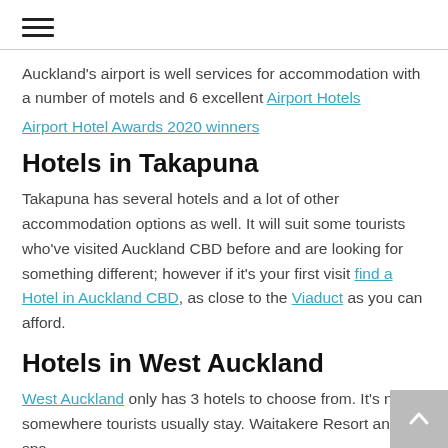[Figure (other): Hamburger menu icon with three horizontal lines]
Auckland's airport is well services for accommodation with a number of motels and 6 excellent Airport Hotels
Airport Hotel Awards 2020 winners
Hotels in Takapuna
Takapuna has several hotels and a lot of other accommodation options as well. It will suit some tourists who've visited Auckland CBD before and are looking for something different; however if it's your first visit find a Hotel in Auckland CBD, as close to the Viaduct as you can afford.
Hotels in West Auckland
West Auckland only has 3 hotels to choose from. It's not somewhere tourists usually stay. Waitakere Resort and spa